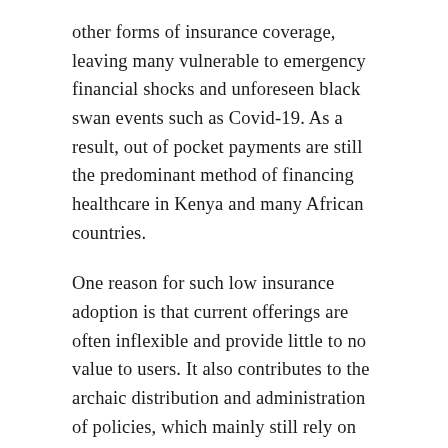other forms of insurance coverage, leaving many vulnerable to emergency financial shocks and unforeseen black swan events such as Covid-19. As a result, out of pocket payments are still the predominant method of financing healthcare in Kenya and many African countries.
One reason for such low insurance adoption is that current offerings are often inflexible and provide little to no value to users. It also contributes to the archaic distribution and administration of policies, which mainly still rely on brick-and-mortar channels where policies are sold and processed manually.
This poor setup naturally results in longer processing cycles and higher distribution costs.